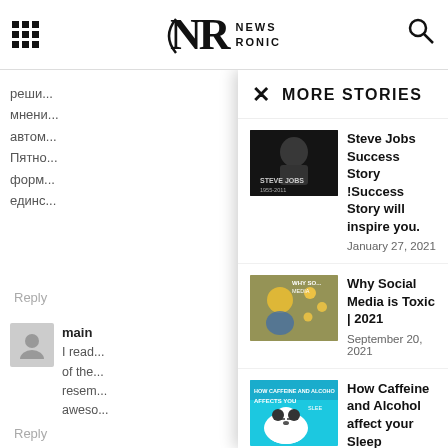NEWS RONIC
реши...
мнени...
автом...
Пятно...
форм...
единс...
Reply
main
I read... of the... resem... aweso...
Reply
MORE STORIES
Steve Jobs Success Story !Success Story will inspire you.
January 27, 2021
Why Social Media is Toxic | 2021
September 20, 2021
How Caffeine and Alcohol affect your Sleep
January 21, 2021